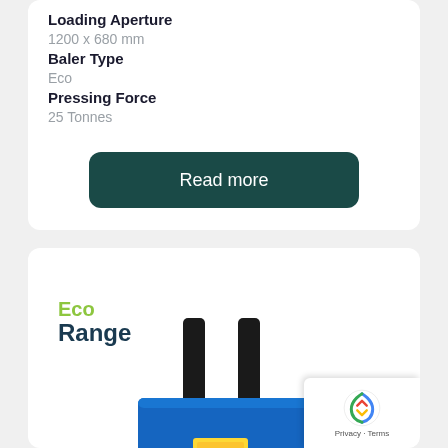Loading Aperture
1200 x 680 mm
Baler Type
Eco
Pressing Force
25 Tonnes
Read more
[Figure (photo): Blue vertical baler machine with two black vertical cylinders extending from the top, branded with Eco Range label. The machine body is blue with a yellow label on the front.]
Eco Range